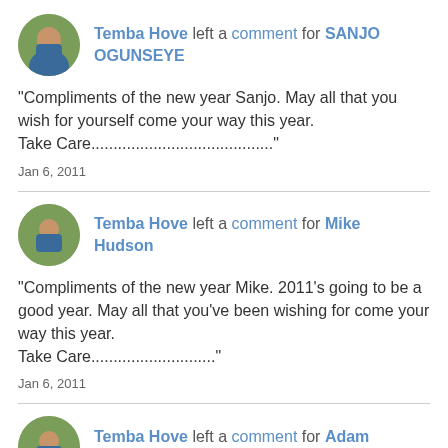Temba Hove left a comment for SANJO OGUNSEYE
"Compliments of the new year Sanjo. May all that you wish for yourself come your way this year.
Take Care........................................."
Jan 6, 2011
Temba Hove left a comment for Mike Hudson
"Compliments of the new year Mike. 2011's going to be a good year. May all that you've been wishing for come your way this year.
Take Care............................"
Jan 6, 2011
Temba Hove left a comment for Adam Harrington